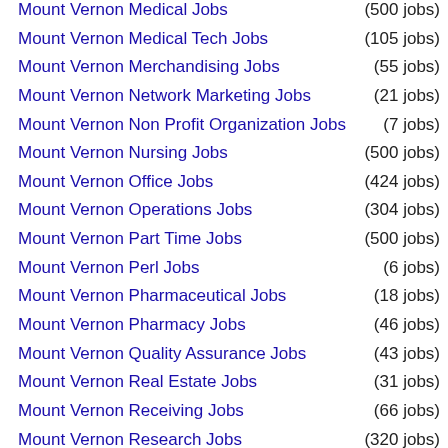Mount Vernon Medical Jobs (500 jobs)
Mount Vernon Medical Tech Jobs (105 jobs)
Mount Vernon Merchandising Jobs (55 jobs)
Mount Vernon Network Marketing Jobs (21 jobs)
Mount Vernon Non Profit Organization Jobs (7 jobs)
Mount Vernon Nursing Jobs (500 jobs)
Mount Vernon Office Jobs (424 jobs)
Mount Vernon Operations Jobs (304 jobs)
Mount Vernon Part Time Jobs (500 jobs)
Mount Vernon Perl Jobs (6 jobs)
Mount Vernon Pharmaceutical Jobs (18 jobs)
Mount Vernon Pharmacy Jobs (46 jobs)
Mount Vernon Quality Assurance Jobs (43 jobs)
Mount Vernon Real Estate Jobs (31 jobs)
Mount Vernon Receiving Jobs (66 jobs)
Mount Vernon Research Jobs (320 jobs)
Mount Vernon Restaurant Jobs (74 jobs)
Mount Vernon Retail Jobs (232 jobs)
Mount Vernon Retail Management Jobs (86 jobs)